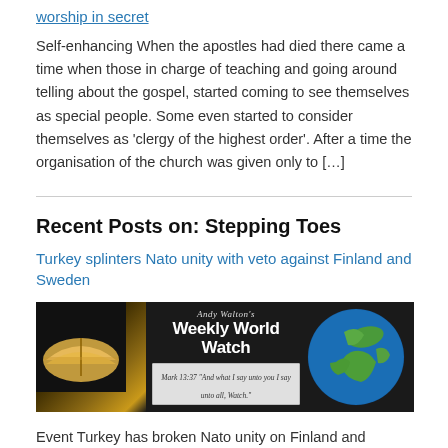worship in secret
Self-enhancing When the apostles had died there came a time when those in charge of teaching and going around telling about the gospel, started coming to see themselves as special people. Some even started to consider themselves as 'clergy of the highest order'. After a time the organisation of the church was given only to [...]
Recent Posts on: Stepping Toes
Turkey splinters Nato unity with veto against Finland and Sweden
[Figure (illustration): Andy Walton's Weekly World Watch banner image featuring an open Bible on the left, the title 'Andy Walton's Weekly World Watch' in the center, a Bible verse 'Mark 13:37 And what I say unto you I say unto all, Watch.' below, and a globe on the right.]
Event Turkey has broken Nato unity on Finland and Sweden's push to join the alliance, blocking an initial vote on accession after President Erdogan demanded that the two countries hand over dozens of Turkish